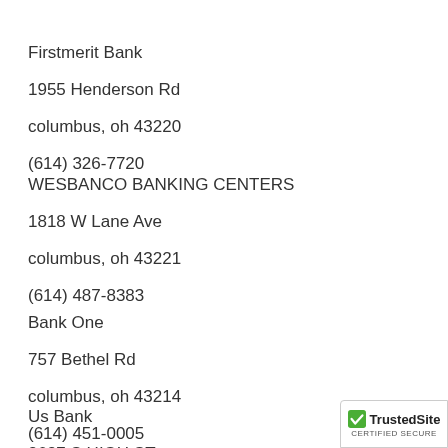Firstmerit Bank
1955 Henderson Rd
columbus, oh 43220
(614) 326-7720
WESBANCO BANKING CENTERS
1818 W Lane Ave
columbus, oh 43221
(614) 487-8383
Bank One
757 Bethel Rd
columbus, oh 43214
(614) 451-0005
Us Bank
3637 S HIGH ST
columbus, oh 43207
[Figure (logo): TrustedSite certification badge with green checkmark and 'TrustedSite' text, 'CERTIFIED SECURE' label below]